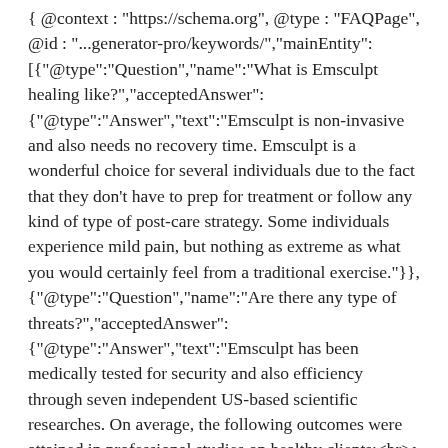{ "@context": "https://schema.org", "@type": "FAQPage", "@id": "...generator-pro/keywords/","mainEntity": [{"@type":"Question","name":"What is Emsculpt healing like?","acceptedAnswer": {"@type":"Answer","text":"Emsculpt is non-invasive and also needs no recovery time. Emsculpt is a wonderful choice for several individuals due to the fact that they don't have to prep for treatment or follow any kind of type of post-care strategy. Some individuals experience mild pain, but nothing as extreme as what you would certainly feel from a traditional exercise."}}, {"@type":"Question","name":"Are there any type of threats?","acceptedAnswer": {"@type":"Answer","text":"Emsculpt has been medically tested for security and also efficiency through seven independent US-based scientific researches. On average, the following outcomes were attained in professional studies on healthy clients:<br>• 19%